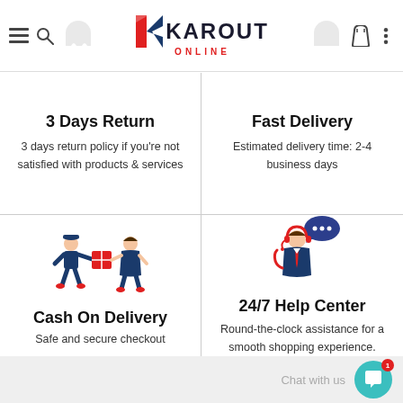Karout Online — navigation header with logo, hamburger menu, search, bag, and more icons
3 Days Return
3 days return policy if you're not satisfied with products & services
Fast Delivery
Estimated delivery time: 2-4 business days
[Figure (illustration): Two people exchanging a red-and-blue package — cash on delivery illustration]
Cash On Delivery
Safe and secure checkout
[Figure (illustration): Customer service agent with headset and speech bubble — 24/7 help center illustration]
24/7 Help Center
Round-the-clock assistance for a smooth shopping experience.
Chat with us